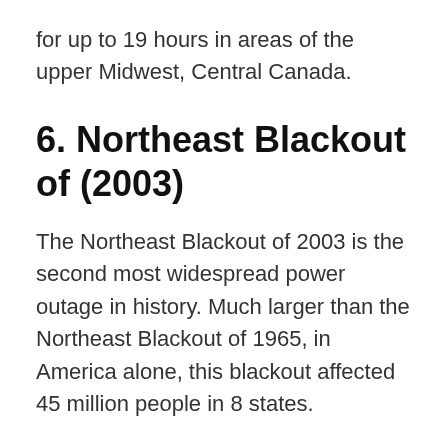for up to 19 hours in areas of the upper Midwest, Central Canada.
6. Northeast Blackout of (2003)
The Northeast Blackout of 2003 is the second most widespread power outage in history. Much larger than the Northeast Blackout of 1965, in America alone, this blackout affected 45 million people in 8 states.